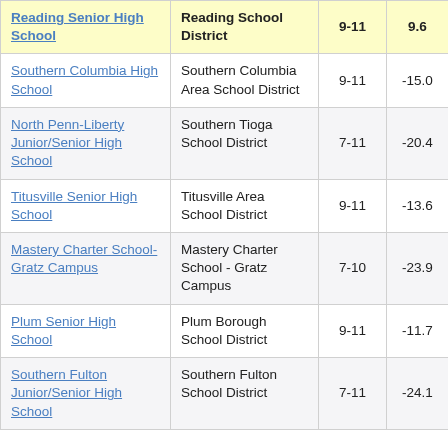| School | District | Grades | Score |
| --- | --- | --- | --- |
| Reading Senior High School | Reading School District | 9-11 | 9.6 |
| Southern Columbia High School | Southern Columbia Area School District | 9-11 | -15.0 |
| North Penn-Liberty Junior/Senior High School | Southern Tioga School District | 7-11 | -20.4 |
| Titusville Senior High School | Titusville Area School District | 9-11 | -13.6 |
| Mastery Charter School-Gratz Campus | Mastery Charter School - Gratz Campus | 7-10 | -23.9 |
| Plum Senior High School | Plum Borough School District | 9-11 | -11.7 |
| Southern Fulton Junior/Senior High School | Southern Fulton School District | 7-11 | -24.1 |